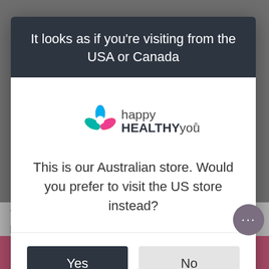It looks as if you're visiting from the USA or Canada
[Figure (logo): happy HEALTHY you logo with colorful flower petals]
This is our Australian store. Would you prefer to visit the US store instead?
Yes
No
7 Strategies to Increase Your Iron
Roasted
Take the Assessment